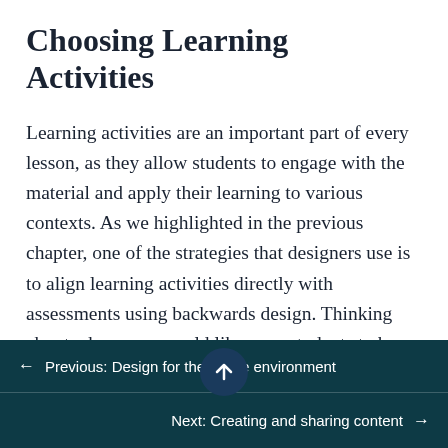Choosing Learning Activities
Learning activities are an important part of every lesson, as they allow students to engage with the material and apply their learning to various contexts. As we highlighted in the previous chapter, one of the strategies that designers use is to align learning activities directly with assessments using backwards design. Thinking about where you would like your students to be, and what types of activities might help t build the skills and knowledge they need to get there is an
← Previous: Design for the online environment
Next: Creating and sharing content →